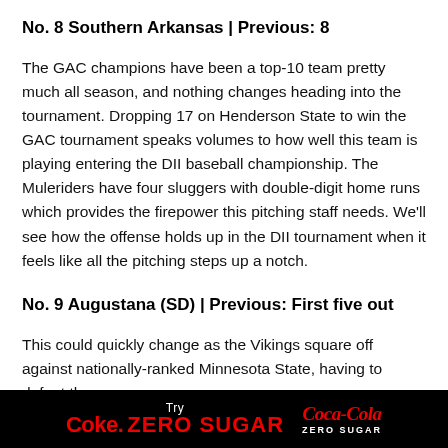No. 8 Southern Arkansas | Previous: 8
The GAC champions have been a top-10 team pretty much all season, and nothing changes heading into the tournament. Dropping 17 on Henderson State to win the GAC tournament speaks volumes to how well this team is playing entering the DII baseball championship. The Muleriders have four sluggers with double-digit home runs which provides the firepower this pitching staff needs. We’ll see how the offense holds up in the DII tournament when it feels like all the pitching steps up a notch.
No. 9 Augustana (SD) | Previous: First five out
This could quickly change as the Vikings square off against nationally-ranked Minnesota State, having to defeat the
[Figure (advertisement): Coca-Cola Zero Sugar advertisement banner on black background with red Coke Zero Sugar text and Coca-Cola logo]